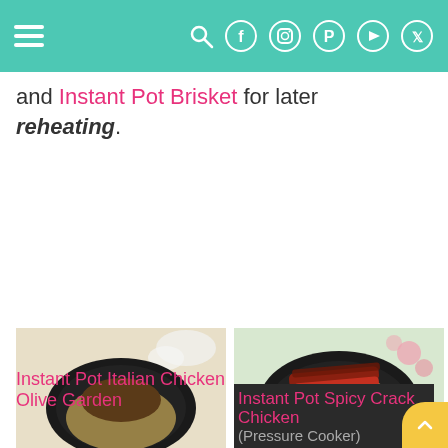navigation header with hamburger menu and social icons
and Instant Pot Brisket for later reheating.
[Figure (photo): Instant Pot Italian Chicken Olive Garden dish — chicken thighs on noodles in a black bowl with white flowers]
[Figure (photo): Instant Pot Spicy Crack Chicken (Pressure Cooker) — chicken with bacon and cheese in a black bowl with pink flowers]
Instant Pot Italian Chicken Olive Garden
Instant Pot Spicy Crack Chicken (Pressure Cooker)